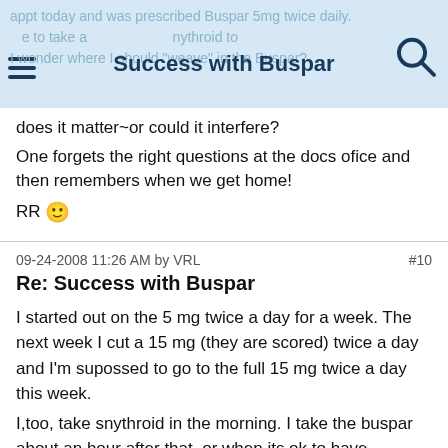Success with Buspar
does it matter~or could it interfere?
One forgets the right questions at the docs ofice and then remembers when we get home!
RR 🙂
09-24-2008 11:26 AM by VRL   #10
Re: Success with Buspar

I started out on the 5 mg twice a day for a week. The next week I cut a 15 mg (they are scored) twice a day and I'm supossed to go to the full 15 mg twice a day this week. I,too, take snythroid in the morning. I take the buspar about an hour after that, or when its ok to have breakfast. So far so good.
In the afternoon is my hrt and an hour later another buspar. Not to be funny, but pretty soon there won't be enough...